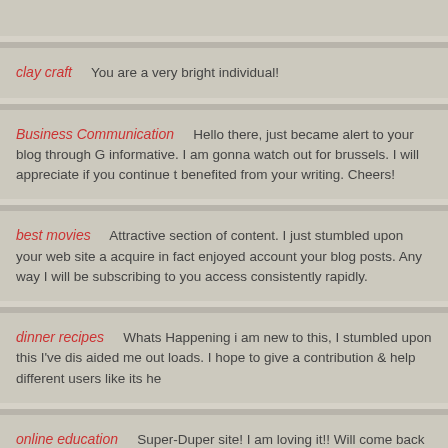clay craft   You are a very bright individual!
Business Communication   Hello there, just became alert to your blog through G... informative. I am gonna watch out for brussels. I will appreciate if you continue t... benefited from your writing. Cheers!
best movies   Attractive section of content. I just stumbled upon your web site a... acquire in fact enjoyed account your blog posts. Any way I will be subscribing to... you access consistently rapidly.
dinner recipes   Whats Happening i am new to this, I stumbled upon this I've dis... aided me out loads. I hope to give a contribution & help different users like its he...
online education   Super-Duper site! I am loving it!! Will come back again. I am...